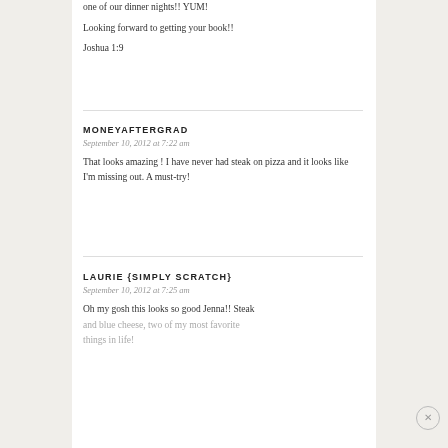one of our dinner nights!! YUM!
Looking forward to getting your book!!
Joshua 1:9
MONEYAFTERGRAD
September 10, 2012 at 7:22 am
That looks amazing ! I have never had steak on pizza and it looks like I'm missing out. A must-try!
LAURIE {SIMPLY SCRATCH}
September 10, 2012 at 7:25 am
Oh my gosh this looks so good Jenna!! Steak and blue cheese, two of my most favorite things in life!